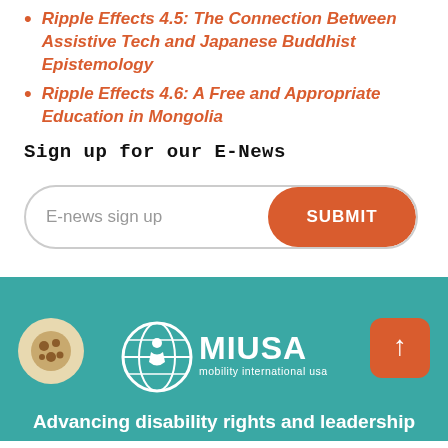Ripple Effects 4.5: The Connection Between Assistive Tech and Japanese Buddhist Epistemology
Ripple Effects 4.6: A Free and Appropriate Education in Mongolia
Sign up for our E-News
[Figure (other): E-news sign up input field with orange SUBMIT button]
[Figure (logo): MIUSA Mobility International USA logo in white on teal background, with cookie icon on left and orange up-arrow button on right]
Advancing disability rights and leadership